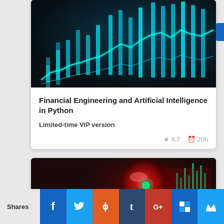[Figure (illustration): Financial chart visualization with teal/cyan colored candlestick bars on dark blue background with glowing line graph overlay]
Financial Engineering and Artificial Intelligence in Python
Limited-time VIP version
★ 4.7  🕐 20h
[Figure (illustration): Red glowing sphere with digital financial chart overlay on dark background]
Shares
[Figure (infographic): Social media sharing buttons: Facebook, Twitter, Reddit, Tumblr, Google+, ShareThis, and Crown icon]